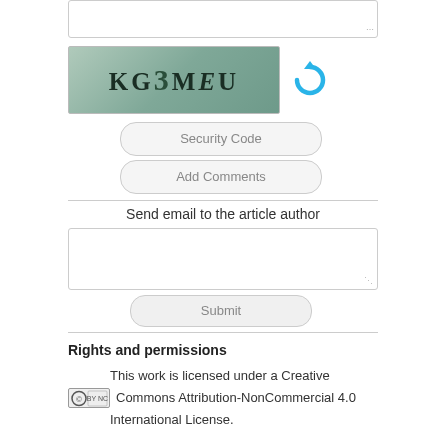[Figure (screenshot): CAPTCHA image showing distorted text 'KG3MEU' on a dark greenish background, with a blue refresh/reload icon to the right]
Security Code
Add Comments
Send email to the article author
Submit
Rights and permissions
This work is licensed under a Creative Commons Attribution-NonCommercial 4.0 International License.